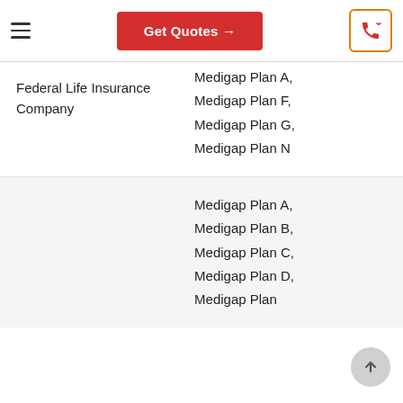Get Quotes →
| Company | Plans Available |
| --- | --- |
| Federal Life Insurance Company | Medigap Plan A, Medigap Plan F, Medigap Plan G, Medigap Plan N |
|  | Medigap Plan A, Medigap Plan B, Medigap Plan C, Medigap Plan D, Medigap Plan |